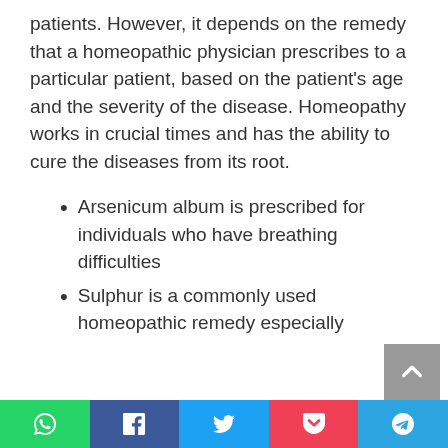patients. However, it depends on the remedy that a homeopathic physician prescribes to a particular patient, based on the patient's age and the severity of the disease. Homeopathy works in crucial times and has the ability to cure the diseases from its root.
Arsenicum album is prescribed for individuals who have breathing difficulties
Sulphur is a commonly used homeopathic remedy especially